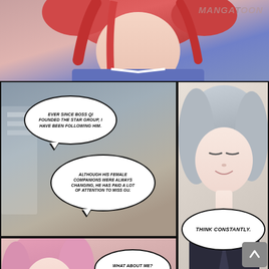[Figure (illustration): Manga/manhwa comic page. Top panel shows red-haired female character from shoulders up with blue outfit. Middle-left panel shows interior scene with speech bubbles. Middle-right panel shows silver-haired male character in suit with eyes closed. Bottom-left panel shows a pink-haired female character with blue eyes. Bottom-wide panel shows teal background with speech bubble. MangaToon watermark in top right.]
EVER SINCE BOSS QI FOUNDED THE STAR GROUP, I HAVE BEEN FOLLOWING HIM.
ALTHOUGH HIS FEMALE COMPANIONS WERE ALWAYS CHANGING, HE HAS PAID A LOT OF ATTENTION TO MISS GU.
THINK CONSTANTLY.
WHAT ABOUT ME? BULLYING ME?
BOSS QI ALWAYS THINKS OF YOU ALMOST EVERY MOMENT, FROM THE FIRST DAY HE SAW YOU.